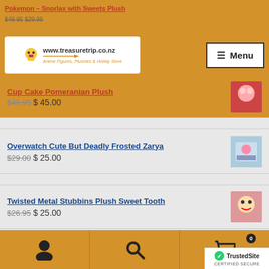Pokemon – Snorlax with Sweets Plush
[Figure (logo): TreasureTrip.co.nz logo — Anime Figures, Plushies & Hobby Store]
Menu
Cup Cake Pomeranian Plush $49.95 $45.00
Overwatch Cute But Deadly Frosted Zarya $29.00 $25.00
Twisted Metal Stubbins Plush Sweet Tooth $26.95 $25.00
Harry Potter Plush Lord Voldemort 20cm $26.95 $25.00
Monster Hunter Double Cross Plush Toy Millsy
TrustedSite CERTIFIED SECURE